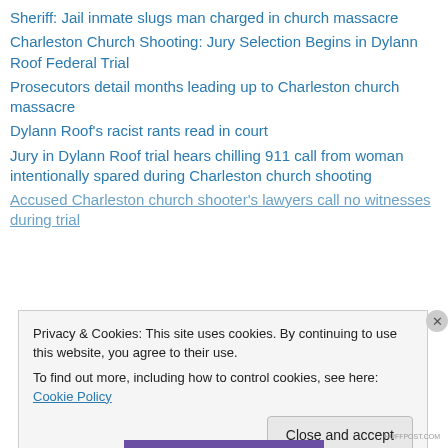Sheriff: Jail inmate slugs man charged in church massacre
Charleston Church Shooting: Jury Selection Begins in Dylann Roof Federal Trial
Prosecutors detail months leading up to Charleston church massacre
Dylann Roof's racist rants read in court
Jury in Dylann Roof trial hears chilling 911 call from woman intentionally spared during Charleston church shooting
Accused Charleston church shooter's lawyers call no witnesses during trial
Privacy & Cookies: This site uses cookies. By continuing to use this website, you agree to their use.
To find out more, including how to control cookies, see here: Cookie Policy